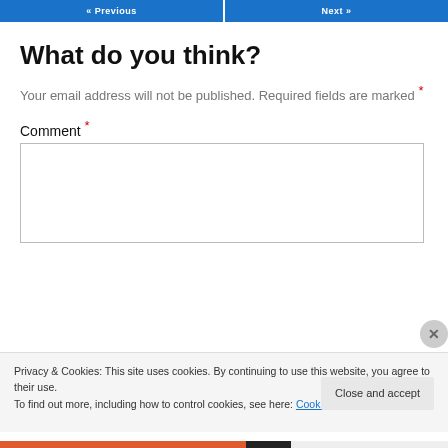« Previous   Next »
What do you think?
Your email address will not be published. Required fields are marked *
Comment *
Privacy & Cookies: This site uses cookies. By continuing to use this website, you agree to their use.
To find out more, including how to control cookies, see here: Cookie Policy
Close and accept